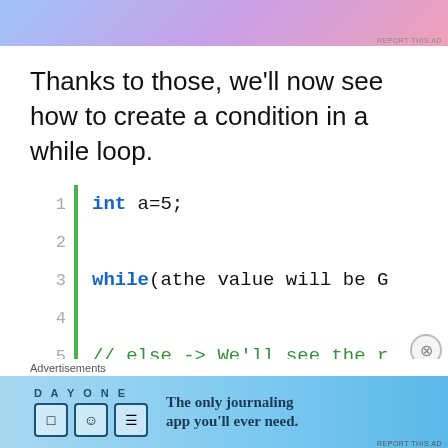[Figure (other): Advertisement banner at the top with gradient purple-pink background]
Thanks to those, we'll now see how to create a condition in a while loop.
[Figure (screenshot): Code block with line numbers 1-10 and a green vertical bar. Line 1: int a=5; Line 2: (blank) Line 3: while(athe value will be G... Line 4: (blank) Line 5: // else -> We'll see the r... Line 6: (blank) Line 7: if( a%2 == 0 ) Line 8: (blank) Line 9: { Line 10: (blank)]
Advertisements
[Figure (other): DAY ONE journaling app advertisement banner — The only journaling app you'll ever need.]